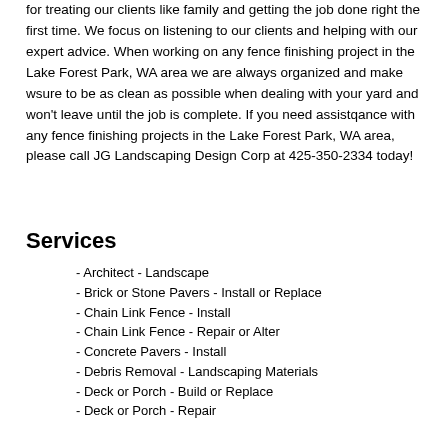for treating our clients like family and getting the job done right the first time. We focus on listening to our clients and helping with our expert advice. When working on any fence finishing project in the Lake Forest Park, WA area we are always organized and make wsure to be as clean as possible when dealing with your yard and won't leave until the job is complete. If you need assistqance with any fence finishing projects in the Lake Forest Park, WA area, please call JG Landscaping Design Corp at 425-350-2334 today!
Services
- Architect - Landscape
- Brick or Stone Pavers - Install or Replace
- Chain Link Fence - Install
- Chain Link Fence - Repair or Alter
- Concrete Pavers - Install
- Debris Removal - Landscaping Materials
- Deck or Porch - Build or Replace
- Deck or Porch - Repair